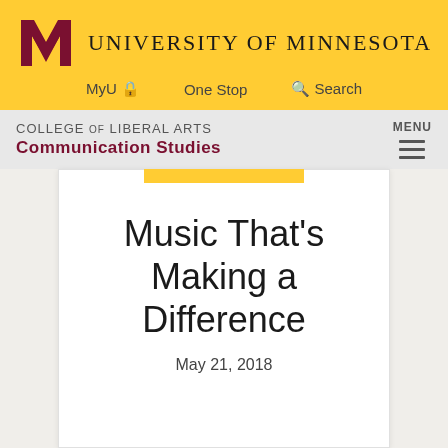[Figure (logo): University of Minnesota block M logo in maroon, followed by text UNIVERSITY OF MINNESOTA in serif uppercase]
MyU  One Stop  Search
COLLEGE OF LIBERAL ARTS Communication Studies  MENU
Music That’s Making a Difference
May 21, 2018